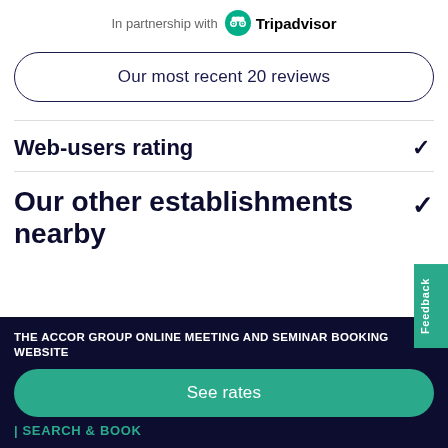In partnership with Tripadvisor
Our most recent 20 reviews
Web-users rating
Our other establishments nearby
THE ACCOR GROUP ONLINE MEETING AND SEMINAR BOOKING WEBSITE
See rates
SEARCH & BOOK
Feedback